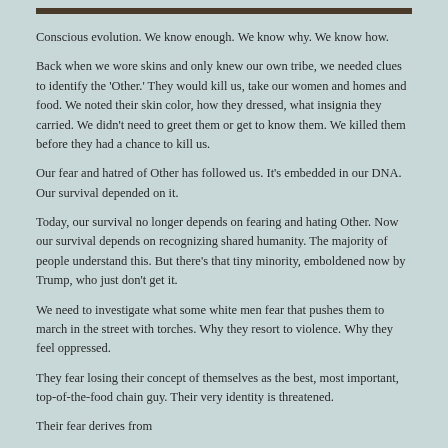Conscious evolution. We know enough. We know why. We know how.
Back when we wore skins and only knew our own tribe, we needed clues to identify the 'Other.' They would kill us, take our women and homes and food. We noted their skin color, how they dressed, what insignia they carried. We didn't need to greet them or get to know them. We killed them before they had a chance to kill us.
Our fear and hatred of Other has followed us. It's embedded in our DNA. Our survival depended on it.
Today, our survival no longer depends on fearing and hating Other. Now our survival depends on recognizing shared humanity. The majority of people understand this. But there's that tiny minority, emboldened now by Trump, who just don't get it.
We need to investigate what some white men fear that pushes them to march in the street with torches. Why they resort to violence. Why they feel oppressed.
They fear losing their concept of themselves as the best, most important, top-of-the-food chain guy. Their very identity is threatened.
Their fear derives from